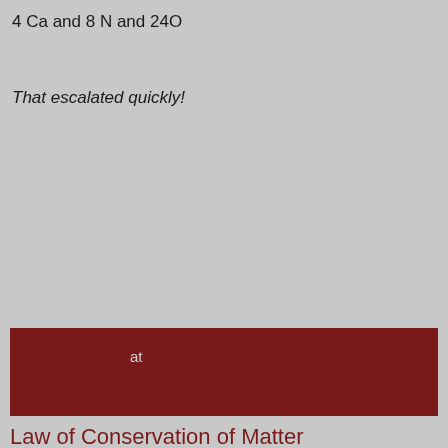4 Ca and 8 N and 24O
That escalated quickly!
at
Law of Conservation of Matter